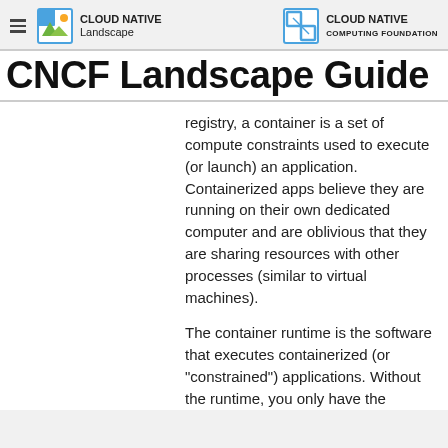Cloud Native Landscape | Cloud Native Computing Foundation
CNCF Landscape Guide
registry, a container is a set of compute constraints used to execute (or launch) an application. Containerized apps believe they are running on their own dedicated computer and are oblivious that they are sharing resources with other processes (similar to virtual machines).
The container runtime is the software that executes containerized (or "constrained") applications. Without the runtime, you only have the container image,